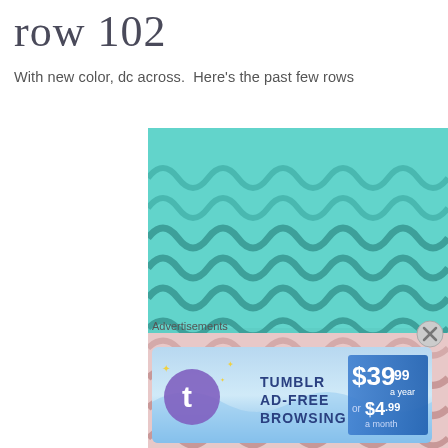row 102
With new color, dc across.  Here's the past few rows
[Figure (photo): Close-up photograph of crochet rows in teal/mint, light pink, lavender/purple, and pink colors showing textured shell or v-stitch pattern]
Advertisements
[Figure (illustration): Tumblr Ad-Free Browsing advertisement banner showing $39.99 a year or $4.99 a month pricing with Tumblr logo]